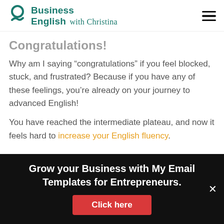Business English with Christina
Congratulations!
Why am I saying “congratulations” if you feel blocked, stuck, and frustrated? Because if you have any of these feelings, you’re already on your journey to advanced English!
You have reached the intermediate plateau, and now it feels hard to increase your English fluency.
Grow your Business with My Email Templates for Entrepreneurs.
Click here